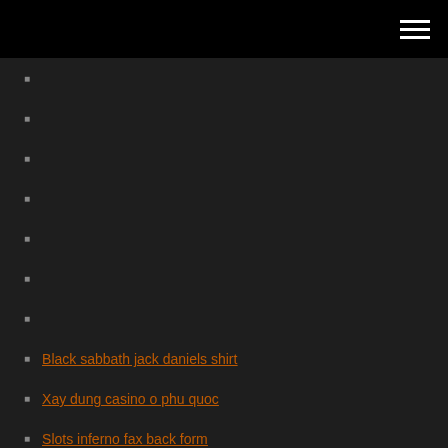Black sabbath jack daniels shirt
Xay dung casino o phu quoc
Slots inferno fax back form
Did buffalo bills casino closed
Atlantis casino multi play draw poker
No deposit bonus ipad casino
Casino queen st. louis missouri